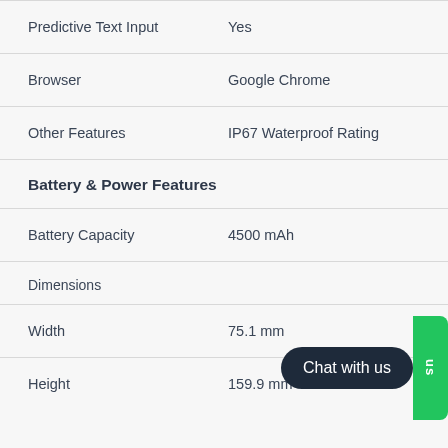| Feature | Value |
| --- | --- |
| Predictive Text Input | Yes |
| Browser | Google Chrome |
| Other Features | IP67 Waterproof Rating |
Battery & Power Features
| Feature | Value |
| --- | --- |
| Battery Capacity | 4500 mAh |
Dimensions
| Feature | Value |
| --- | --- |
| Width | 75.1 mm |
| Height | 159.9 mm |